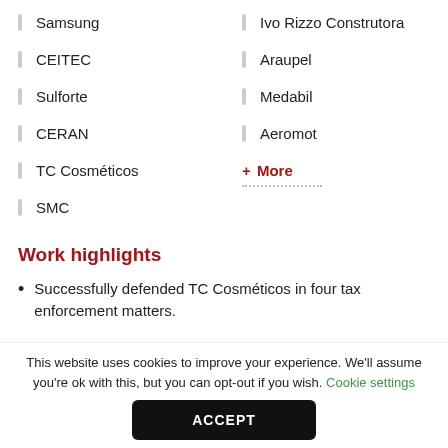Samsung
Ivo Rizzo Construtora
CEITEC
Araupel
Sulforte
Medabil
CERAN
Aeromot
TC Cosméticos
+ More
SMC
Work highlights
Successfully defended TC Cosméticos in four tax enforcement matters.
This website uses cookies to improve your experience. We'll assume you're ok with this, but you can opt-out if you wish. Cookie settings
ACCEPT